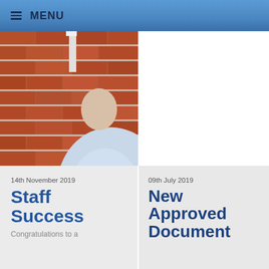MENU
[Figure (photo): Photo of a person in a light blue shirt against a red brick wall, partial view showing shoulder and back.]
14th November 2019
Staff Success
Congratulations to a
09th July 2019
New Approved Document